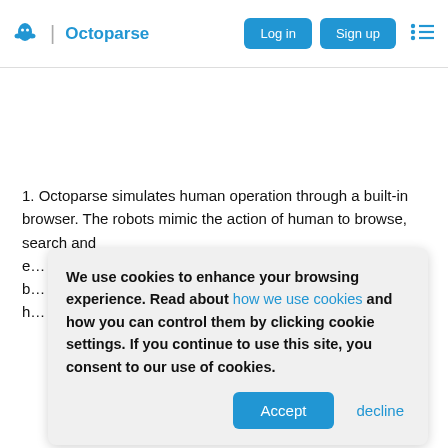Octoparse | Log in | Sign up
1. Octoparse simulates human operation through a built-in browser. The robots mimic the action of human to browse, search and e... b... h...
We use cookies to enhance your browsing experience. Read about how we use cookies and how you can control them by clicking cookie settings. If you continue to use this site, you consent to our use of cookies.
2. O... C... C... of web scraping.